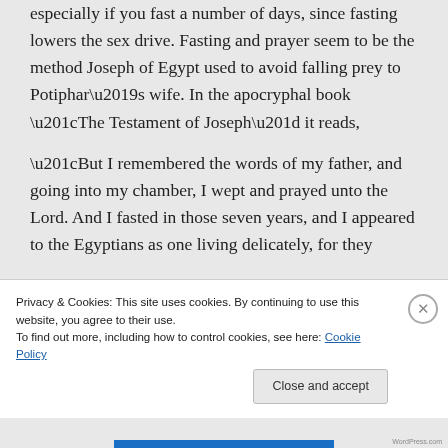especially if you fast a number of days, since fasting lowers the sex drive. Fasting and prayer seem to be the method Joseph of Egypt used to avoid falling prey to Potiphar's wife. In the apocryphal book "The Testament of Joseph" it reads,
“But I remembered the words of my father, and going into my chamber, I wept and prayed unto the Lord. And I fasted in those seven years, and I appeared to the Egyptians as one living delicately, for they
Privacy & Cookies: This site uses cookies. By continuing to use this website, you agree to their use.
To find out more, including how to control cookies, see here: Cookie Policy
Close and accept